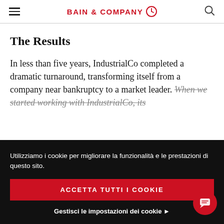BAIN & COMPANY
The Results
In less than five years, IndustrialCo completed a dramatic turnaround, transforming itself from a company near bankruptcy to a market leader. When we started working with IndustrialCo, its
Utilizziamo i cookie per migliorare la funzionalità e le prestazioni di questo sito.
ACCETTA TUTTI I COOKIE
Gestisci le impostazioni dei cookie ▶